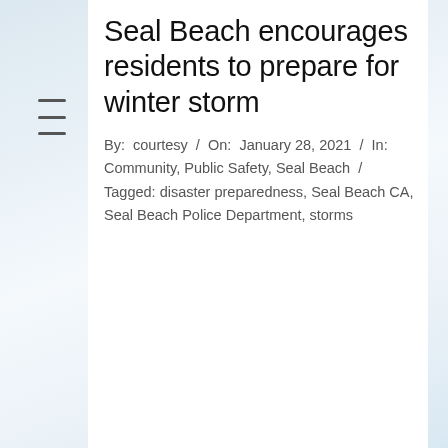Seal Beach encourages residents to prepare for winter storm
By: courtesy / On: January 28, 2021 / In: Community, Public Safety, Seal Beach / Tagged: disaster preparedness, Seal Beach CA, Seal Beach Police Department, storms